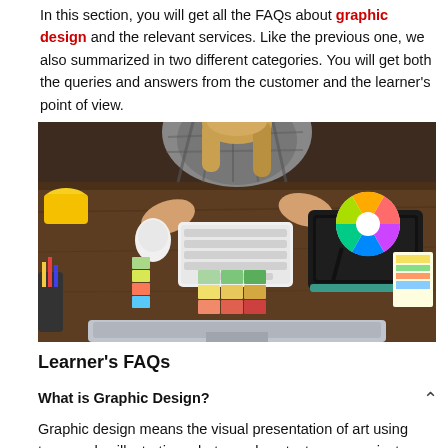In this section, you will get all the FAQs about graphic design and the relevant services. Like the previous one, we also summarized in two different categories. You will get both the queries and answers from the customer and the learner's point of view.
[Figure (photo): Overhead view of a graphic designer working at a desk with a keyboard, drawing tablet with stylus, color swatches, color wheel printout, and other design materials. A monitor is visible at the bottom edge.]
Learner's FAQs
What is Graphic Design?
Graphic design means the visual presentation of art using typography, illustration, photography, etc. to communicate with the